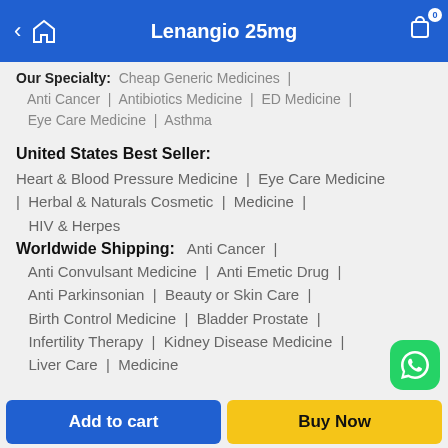Lenangio 25mg
Our Specialty: Cheap Generic Medicines | Anti Cancer | Antibiotics Medicine | ED Medicine | Eye Care Medicine | Asthma
United States Best Seller:
Heart & Blood Pressure Medicine | Eye Care Medicine | Herbal & Naturals Cosmetic | Medicine | HIV & Herpes
Worldwide Shipping:
Anti Cancer | Anti Convulsant Medicine | Anti Emetic Drug | Anti Parkinsonian | Beauty or Skin Care | Birth Control Medicine | Bladder Prostate | Infertility Therapy | Kidney Disease Medicine | Liver Care | Medicine